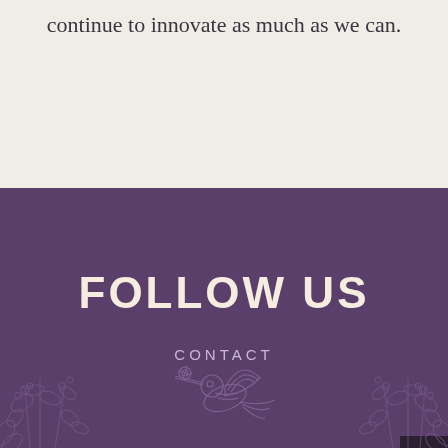continue to innovate as much as we can.
FOLLOW US
CONTACT
[Figure (illustration): Decorative botanical line art illustration of hummingbird and plants/leaves on purple background, with floral elements on sides]